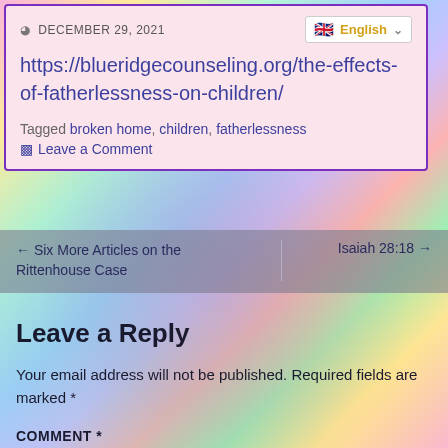DECEMBER 29, 2021 | English
https://blueridgecounseling.org/the-effects-of-fatherlessness-on-children/
Tagged broken home, children, fatherlessness
Leave a Comment
← Six More Articles on the Rittenhouse Case
Isaiah 28:18 →
Leave a Reply
Your email address will not be published. Required fields are marked *
COMMENT *